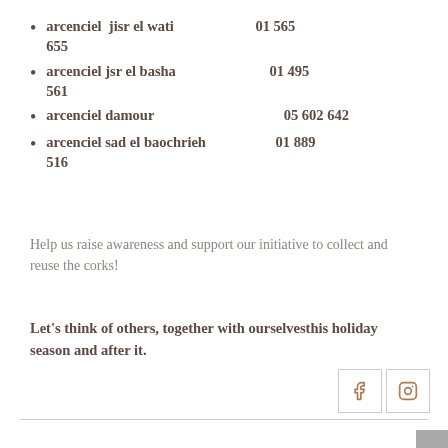arcenciel  jisr el wati        01 565 655
arcenciel jsr el basha        01 495 561
arcenciel damour              05 602 642
arcenciel sad el baochrieh        01 889 516
Help us raise awareness and support our initiative to collect and reuse the corks!
Let’s think of others, together with ourselvesthis holiday season and after it.